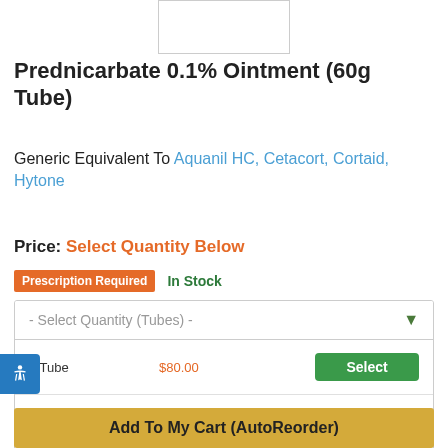[Figure (photo): Product image placeholder box (white rectangle with border)]
Prednicarbate 0.1% Ointment (60g Tube)
Generic Equivalent To Aquanil HC, Cetacort, Cortaid, Hytone
Price: Select Quantity Below
Prescription Required   In Stock
| Quantity | Price | Action |
| --- | --- | --- |
| 1 Tube | $80.00 | Select |
| 2 Tubes | $150.00 (Save 6%) | Select |
| Custom Tube Quantity |  | Select |
Add To My Cart (AutoReorder)